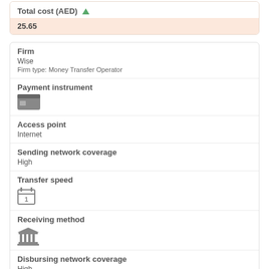Total cost (AED)
25.65
Firm
Wise
Firm type: Money Transfer Operator
Payment instrument
[Figure (illustration): Credit/debit card icon]
Access point
Internet
Sending network coverage
High
Transfer speed
[Figure (illustration): Calendar icon showing 1]
Receiving method
[Figure (illustration): Bank/institution icon]
Disbursing network coverage
High
Fee